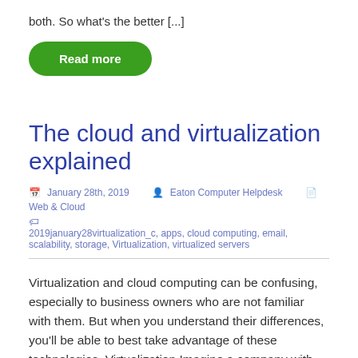both. So what's the better [...]
Read more
The cloud and virtualization explained
January 28th, 2019   Eaton Computer Helpdesk   Web & Cloud
2019january28virtualization_c, apps, cloud computing, email, scalability, storage, Virtualization, virtualized servers
Virtualization and cloud computing can be confusing, especially to business owners who are not familiar with them. But when you understand their differences, you'll be able to best take advantage of these technologies. Virtualization Imagine a company with five servers,